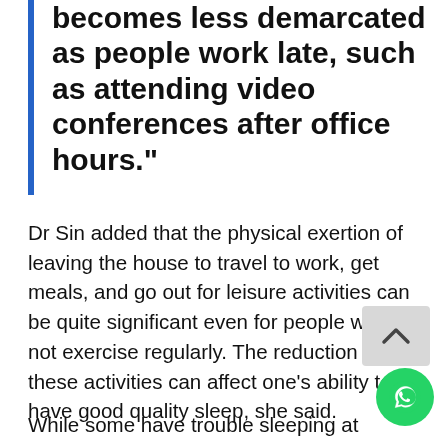becomes less demarcated as people work late, such as attending video conferences after office hours."
Dr Sin added that the physical exertion of leaving the house to travel to work, get meals, and go out for leisure activities can be quite significant even for people who do not exercise regularly. The reduction in these activities can affect one's ability to have good quality sleep, she said.
While some have trouble sleeping at night, others may find it right...